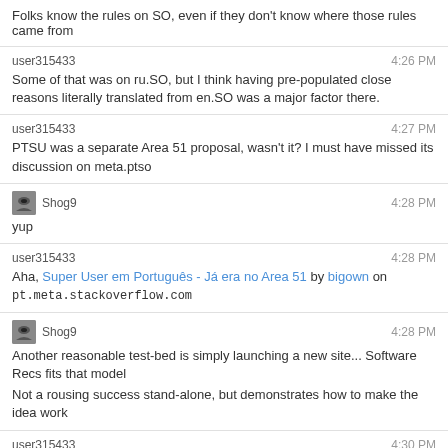Folks know the rules on SO, even if they don't know where those rules came from
user315433 4:26 PM
Some of that was on ru.SO, but I think having pre-populated close reasons literally translated from en.SO was a major factor there.
user315433 4:27 PM
PTSU was a separate Area 51 proposal, wasn't it? I must have missed its discussion on meta.ptso
Shog9 4:28 PM
yup
user315433 4:28 PM
Aha, Super User em Português - Já era no Area 51 by bigown on pt.meta.stackoverflow.com
Shog9 4:28 PM
Another reasonable test-bed is simply launching a new site... Software Recs fits that model
Not a rousing success stand-alone, but demonstrates how to make the idea work
user315433 4:30 PM
Gabe got their hopes up that time...
user315433 4:30 PM
in Estouro de Pilha on The Stack Exchange Network Chat, Jan 10 at 17:22, by Gabe
@MarceloBonifazio Eu odeio falar essas coisas porque vocês tem uma